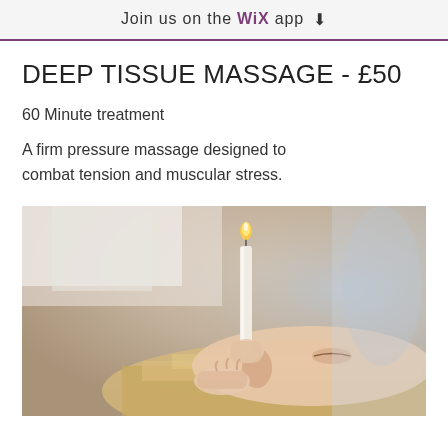Join us on the WiX app
DEEP TISSUE MASSAGE - £50
60 Minute treatment
A firm pressure massage designed to combat tension and muscular stress.
[Figure (photo): A therapist performing ear candling treatment on a woman lying down, with a lit candle placed in the ear.]